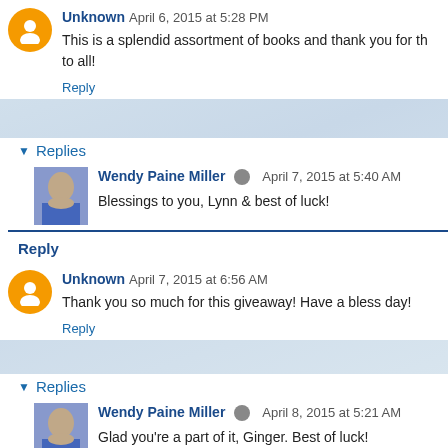Unknown  April 6, 2015 at 5:28 PM
This is a splendid assortment of books and thank you for th... to all!
Reply
Replies
Wendy Paine Miller  April 7, 2015 at 5:40 AM
Blessings to you, Lynn & best of luck!
Reply
Unknown  April 7, 2015 at 6:56 AM
Thank you so much for this giveaway! Have a bless day!
Reply
Replies
Wendy Paine Miller  April 8, 2015 at 5:21 AM
Glad you're a part of it, Ginger. Best of luck!